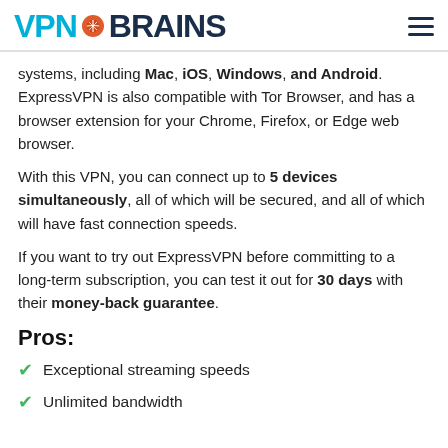VPN BRAINS
systems, including Mac, iOS, Windows, and Android. ExpressVPN is also compatible with Tor Browser, and has a browser extension for your Chrome, Firefox, or Edge web browser.
With this VPN, you can connect up to 5 devices simultaneously, all of which will be secured, and all of which will have fast connection speeds.
If you want to try out ExpressVPN before committing to a long-term subscription, you can test it out for 30 days with their money-back guarantee.
Pros:
Exceptional streaming speeds
Unlimited bandwidth